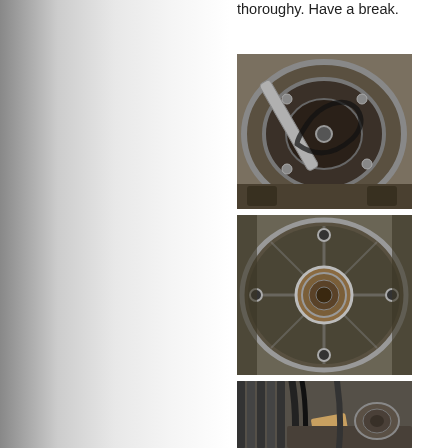thoroughy. Have a break.
[Figure (photo): Engine component showing a metal tool or bar inserted into a circular mechanical assembly, possibly a flywheel or clutch housing, viewed from below]
[Figure (photo): Circular metal engine component, possibly a flywheel housing or clutch cover, showing a central hub and metallic surface with wear marks]
[Figure (photo): Engine bay area showing fan blades, hoses, and various mechanical components including what appears to be a wooden wedge or block]